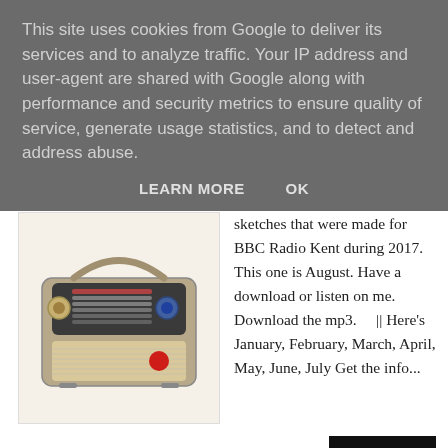This site uses cookies from Google to deliver its services and to analyze traffic. Your IP address and user-agent are shared with Google along with performance and security metrics to ensure quality of service, generate usage statistics, and to detect and address abuse.
LEARN MORE   OK
[Figure (photo): Vintage portable transistor radio with tuning dial and speaker grille]
sketches that were made for BBC Radio Kent during 2017. This one is August. Have a download or listen on me. Download the mp3.     || Here's January, February, March, April, May, June, July Get the info...
Share:  f  y  G+  ®  in
Read More
The Sketches Podcast - July 2017
12/27/2017 07:04:00 pm  |  2017Sketches, Audio, Podcasts, RadioPod  |
[Figure (photo): Partial view of vintage radio at bottom of page]
This is a podcast of the comedy